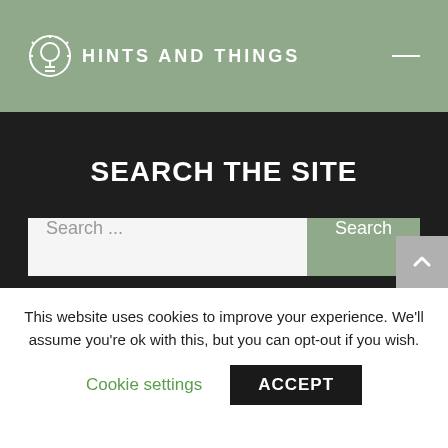HINTS AND THINGS
SEARCH THE SITE
Search ...
Search
About Hints and Things
FAQs
This website uses cookies to improve your experience. We'll assume you're ok with this, but you can opt-out if you wish.
Cookie settings
ACCEPT